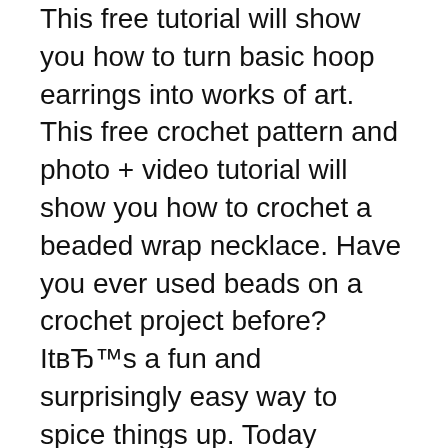This free tutorial will show you how to turn basic hoop earrings into works of art. This free crochet pattern and photo + video tutorial will show you how to crochet a beaded wrap necklace. Have you ever used beads on a crochet project before? ItвЂ™s a fun and surprisingly easy way to spice things up. Today IвЂ™m sharing a free pattern for a beaded crochet wrap necklace. ItвЂ™s [вЂ¦]
If you're looking for an extraordinary jewelry-making project to get started on, why not give this crochet bead necklace pattern a try? This necklace is remarkable because it is comfortable to wear, beautiful to look at and an